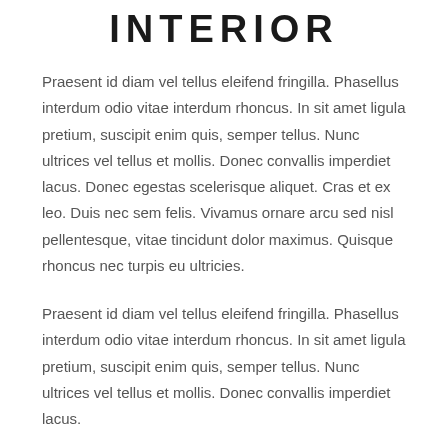INTERIOR
Praesent id diam vel tellus eleifend fringilla. Phasellus interdum odio vitae interdum rhoncus. In sit amet ligula pretium, suscipit enim quis, semper tellus. Nunc ultrices vel tellus et mollis. Donec convallis imperdiet lacus. Donec egestas scelerisque aliquet. Cras et ex leo. Duis nec sem felis. Vivamus ornare arcu sed nisl pellentesque, vitae tincidunt dolor maximus. Quisque rhoncus nec turpis eu ultricies.
Praesent id diam vel tellus eleifend fringilla. Phasellus interdum odio vitae interdum rhoncus. In sit amet ligula pretium, suscipit enim quis, semper tellus. Nunc ultrices vel tellus et mollis. Donec convallis imperdiet lacus.